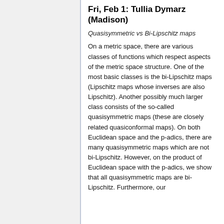Fri, Feb 1: Tullia Dymarz (Madison)
Quasisymmetric vs Bi-Lipschitz maps
On a metric space, there are various classes of functions which respect aspects of the metric space structure. One of the most basic classes is the bi-Lipschitz maps (Lipschitz maps whose inverses are also Lipschitz). Another possibly much larger class consists of the so-called quasisymmetric maps (these are closely related quasiconformal maps). On both Euclidean space and the p-adics, there are many quasisymmetric maps which are not bi-Lipschitz. However, on the product of Euclidean space with the p-adics, we show that all quasisymmetric maps are bi-Lipschitz. Furthermore, our